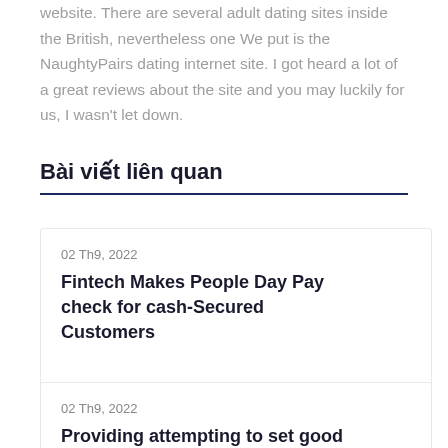website. There are several adult dating sites inside the British, nevertheless one We put is the NaughtyPairs dating internet site. I got heard a lot of a great reviews about the site and you may luckily for us, I wasn't let down.
Bài viết liên quan
02 Th9, 2022
Fintech Makes People Day Paycheck for cash-Secured Customers
02 Th9, 2022
Providing attempting to set good